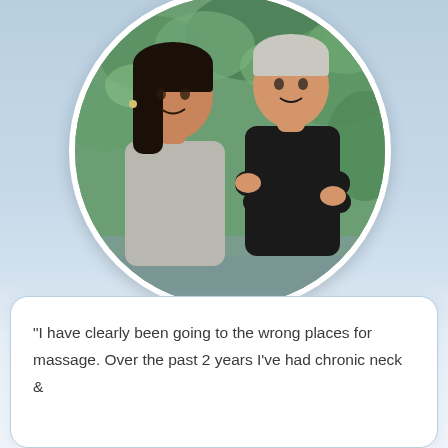[Figure (photo): Circular cropped photo of a woman with long dark hair wearing a light grey top and a man in a black polo shirt, both smiling, standing back-to-back outdoors in front of green leafy plants.]
"I have clearly been going to the wrong places for massage. Over the past 2 years I've had chronic neck &